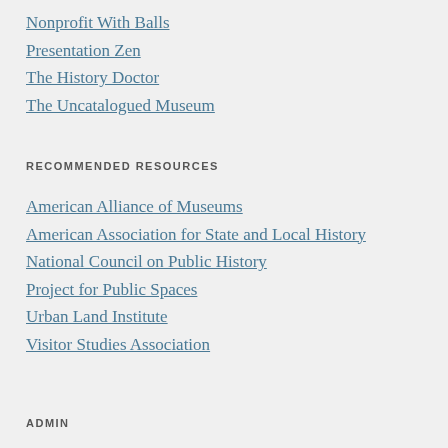Nonprofit With Balls
Presentation Zen
The History Doctor
The Uncatalogued Museum
RECOMMENDED RESOURCES
American Alliance of Museums
American Association for State and Local History
National Council on Public History
Project for Public Spaces
Urban Land Institute
Visitor Studies Association
ADMIN
Register